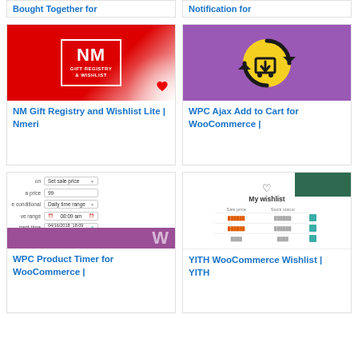Bought Together for
Notification for
[Figure (screenshot): NM Gift Registry and Wishlist plugin logo on red background with white NM letters in a bordered box and 'Gift Registry & Wishlist' text]
NM Gift Registry and Wishlist Lite | Nmeri
[Figure (screenshot): WPC Ajax Add to Cart for WooCommerce plugin icon - shopping cart with download arrow inside circular arrows on purple background]
WPC Ajax Add to Cart for WooCommerce |
[Figure (screenshot): WPC Product Timer for WooCommerce plugin screenshot showing a form with sale price, daily time range, and time fields, with purple bar at bottom]
WPC Product Timer for WooCommerce |
[Figure (screenshot): YITH WooCommerce Wishlist plugin screenshot showing a My Wishlist page with heart icon, wishlist table with sale price and stock status columns]
YITH WooCommerce Wishlist | YITH